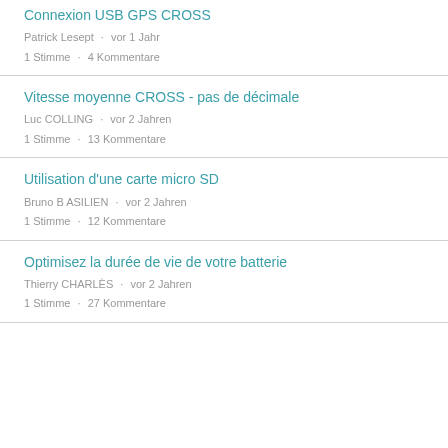Connexion USB GPS CROSS
Patrick Lesept · vor 1 Jahr
1 Stimme · 4 Kommentare
Vitesse moyenne CROSS - pas de décimale
Luc COLLING · vor 2 Jahren
1 Stimme · 13 Kommentare
Utilisation d'une carte micro SD
Bruno B ASILIEN · vor 2 Jahren
1 Stimme · 12 Kommentare
Optimisez la durée de vie de votre batterie
Thierry CHARLÈS · vor 2 Jahren
1 Stimme · 27 Kommentare